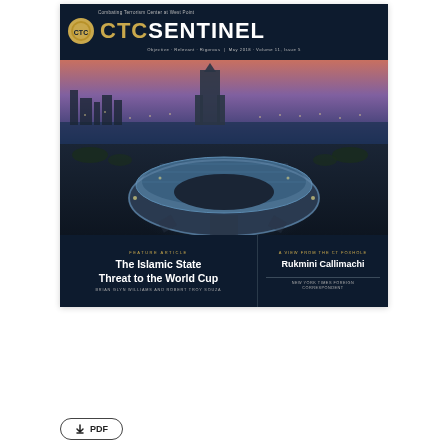[Figure (illustration): CTC Sentinel magazine cover. Top: dark navy header with gold medallion logo, 'CTC SENTINEL' title in gold and white, tagline 'Objective · Relevant · Rigorous | May 2018 · Volume 11, Issue 5'. Middle: aerial photograph of Luzhniki Stadium in Moscow lit at night with city skyline behind. Bottom left panel (dark navy): Feature Article label in gold, title 'The Islamic State Threat to the World Cup' in white bold, authors 'Brian Glyn Williams and Robert Troy Souza' in small caps. Bottom right panel: 'A View from the CT Foxhole' label, name 'Rukmini Callimachi' in white, subtitle 'New York Times Foreign Correspondent' in small text.]
[Figure (other): Download PDF button with down-arrow icon, rounded rectangle border, text '⬇ PDF']